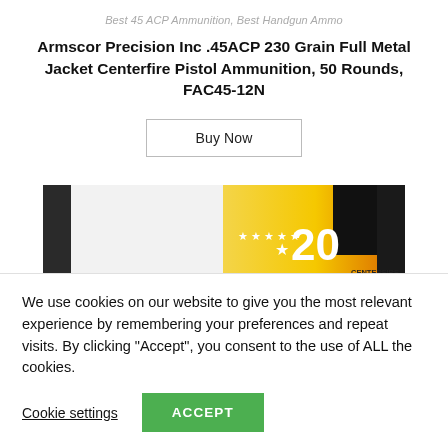Best 45 ACP Ammunition, Best Handgun Ammo
Armscor Precision Inc .45ACP 230 Grain Full Metal Jacket Centerfire Pistol Ammunition, 50 Rounds, FAC45-12N
[Figure (other): Buy Now button — a rectangular outlined button with text 'Buy Now']
[Figure (photo): Photo of an Armscor ammunition box labeled '20 Centerfire Pistol Cartridges' with yellow and black branding and the Armscor logo]
We use cookies on our website to give you the most relevant experience by remembering your preferences and repeat visits. By clicking “Accept”, you consent to the use of ALL the cookies.
Cookie settings    ACCEPT